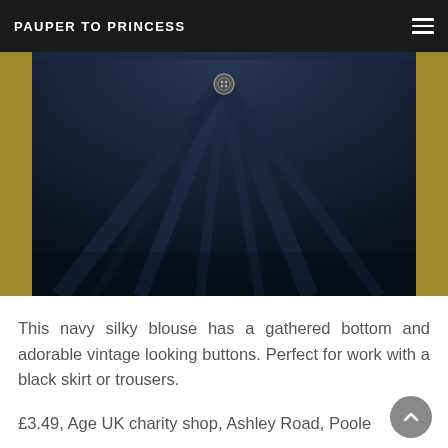PAUPER TO PRINCESS
[Figure (photo): Close-up photo of a dark navy silky blouse showing gathered fabric, a silver button at the neckline, with a yellow background visible on the edges]
This navy silky blouse has a gathered bottom and adorable vintage looking buttons. Perfect for work with a black skirt or trousers.
£3.49, Age UK charity shop, Ashley Road, Poole